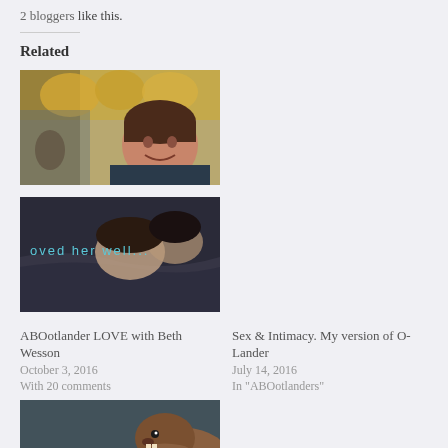2 bloggers like this.
Related
[Figure (photo): Photo of a smiling woman with short dark hair wearing a teal scarf, standing in front of a window with yellow fabric/coats hanging]
[Figure (photo): Dark intimate scene with text overlay reading 'oved her well...' in blue/cyan text]
ABOotlander LOVE with Beth Wesson
October 3, 2016
With 20 comments
Sex & Intimacy. My version of O-Lander
July 14, 2016
In "ABOotlanders"
[Figure (photo): Photo of a wet beaver (animal) being held by human hands, with text overlay 'GRATUITOUS WET BEAVER SHOT' and 'you're doing it wrong']
Tappin’ the vein. Cracklander meeting commences